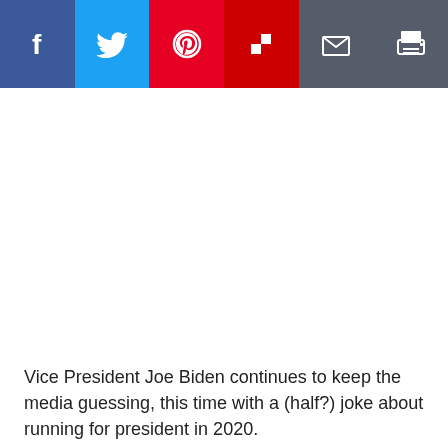[Figure (other): Social media share buttons row: Facebook (dark blue), Twitter (light blue), Pinterest (red), Flipboard (dark red), Email (grey), Print (grey)]
Vice President Joe Biden continues to keep the media guessing, this time with a (half?) joke about running for president in 2020.